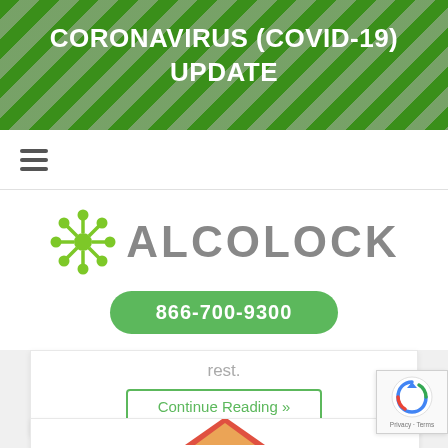CORONAVIRUS (COVID-19) UPDATE
[Figure (logo): Alcolock company logo with green molecular icon and gray wordmark, phone number button 866-700-9300]
rest.
Continue Reading »
[Figure (illustration): Partial triangle/mountain illustration at bottom of page]
[Figure (other): reCAPTCHA badge with Privacy and Terms links]